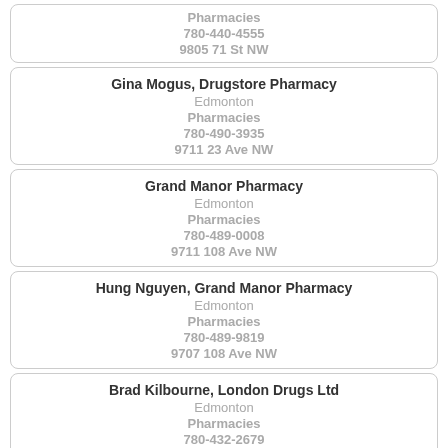Pharmacies
780-440-4555
9805 71 St NW
Gina Mogus, Drugstore Pharmacy
Edmonton
Pharmacies
780-490-3935
9711 23 Ave NW
Grand Manor Pharmacy
Edmonton
Pharmacies
780-489-0008
9711 108 Ave NW
Hung Nguyen, Grand Manor Pharmacy
Edmonton
Pharmacies
780-489-9819
9707 108 Ave NW
Brad Kilbourne, London Drugs Ltd
Edmonton
Pharmacies
780-432-2679
9704 19 Ave NW
Mike Walowk, Crestwood Apothecary